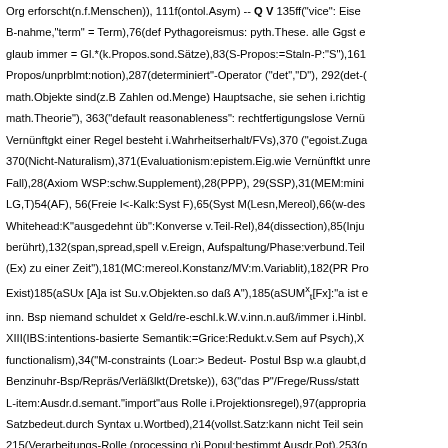Org erforscht(n.f.Menschen)), 111f(ontol.Asym)  --  Q V 135ff("vice": Eise B-nahme,"term" = Term),76(def Pythagoreismus: pyth.These. alle Ggst e glaub immer = Gl.*(k.Propos.sond.Sätze),83(S-Propos:=Staln-P:"S"),161 Propos/unprblmt:notion),287(determiniert"-Operator ("det","D"), 292(det-( math.Objekte sind(z.B Zahlen od.Menge) Hauptsache, sie sehen i.richtig math.Theorie"), 363("default reasonableness": rechtfertigungslose Vernü Vernünftgkt einer Regel besteht i.Wahrheitserhalt/FVs),370 ("egoist.Zuga 370(Nicht-Naturalism),371(Evaluationism:epistem.Eig.wie Vernünftkt unre Fall),28(Axiom WSP:schw.Supplement),28(PPP), 29(SSP),31(MEM:mini LG,T)54(AF), 56(Freie I<-Kalk:Syst F),65(Syst M(Lesn,Mereol),66(w-des Whitehead:K"ausgedehnt üb":Konverse v.Teil-Rel),84(dissection),85(Inju berührt),132(span,spread,spell v.Ereign, Aufspaltung/Phase:verbund.Teil (Ex) zu einer Zeit"),181(MC:mereol.Konstanz/MV:m.Variablit),182(PR Pro Exist)185(aSUx [A]a ist Su.v.Objekten.so daß A"),185(aSUMˣₜ[Fx]:"a ist e inn. Bsp niemand schuldet x Geld/re-eschl.k.W.v.inn.n.auß/immer i.Hinbl. XIII(IBS:intentions-basierte Semantik:=Grice:Redukt.v.Sem auf Psych),X functionalism),34("M-constraints (Loar:> Bedeut- Postul Bsp w.a glaubt,d Benzinuhr-Bsp/Repräs/Verläßlkt(Dretske)), 63("das P"/Frege/Russ/statt L-item:Ausdr.d.semant."import"aus Rolle i.Projektionsregel),97(appropria Satzbedeut.durch Syntax u.Wortbed),214(vollst.Satz:kann nicht Teil sein 215(Verarbeitungs-Rolle (processing r)i.Popul:bestimmt Ausdr.Pot),253(p als Erbe v. Ihalt aus Antezed,ab.n.m.diesem verknüpftwie Prosatz),,235(D 236("Ausdruck": Term od.Satz, A,B,C:Satz, T1,T2:Terme,"V": Menge d.ge Interpretat = Zuschreib.), 239(Tiefe(v.Quantor) = 0,w.nicht extens(=Zitat)/ Individvar), 258 ("querible"Belnap 1976:Var.i.Frage),263(Ordn,Grad,Rang reflektierend/auch i.Konversation:WH statt "das ist wahr"),326(CGB Ante. 330("thatt" fiktiv verfügbarer atom.Prosatz/ref nicht),334(Englisch*:ohne V war wahr"),350(Proform: zeigt, daß nichts neues eingeführt wird),370(Le hat),374(NI:naturalist.Instrumentalism), 391(GIT:"brains in.a vat"),391(SA und bei WH/Re-Norm:Heilung),403(dass-Bsp:Teilsatz:d.einen Def